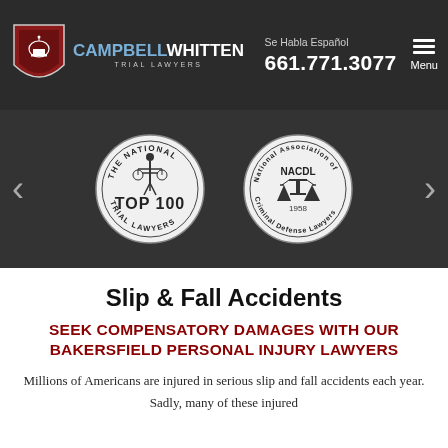CAMPBELL WHITTEN TRIAL LAWYERS | Se Habla Español | 661.771.3077 | Menu
[Figure (logo): Campbell Whitten Trial Lawyers shield logo with red/blue crest and white text]
[Figure (other): Award badge carousel showing: The National Trial Lawyers TOP 100 seal, and NACDL National Association of Criminal Defense Lawyers 1958 seal, with left and right navigation arrows]
Slip & Fall Accidents
SEEK COMPENSATORY DAMAGES WITH OUR BAKERSFIELD PERSONAL INJURY LAWYERS
Millions of Americans are injured in serious slip and fall accidents each year. Sadly, many of these injured